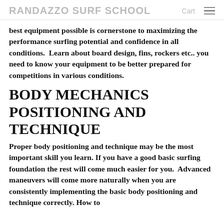RANDAZZO SURF SCHOOL   Cart
best equipment possible is cornerstone to maximizing the performance surfing potential and confidence in all conditions.  Learn about board design, fins, rockers etc.. you need to know your equipment to be better prepared for competitions in various conditions.
BODY MECHANICS POSITIONING AND TECHNIQUE
Proper body positioning and technique may be the most important skill you learn. If you have a good basic surfing foundation the rest will come much easier for you.  Advanced maneuvers will come more naturally when you are consistently implementing the basic body positioning and technique correctly. How to